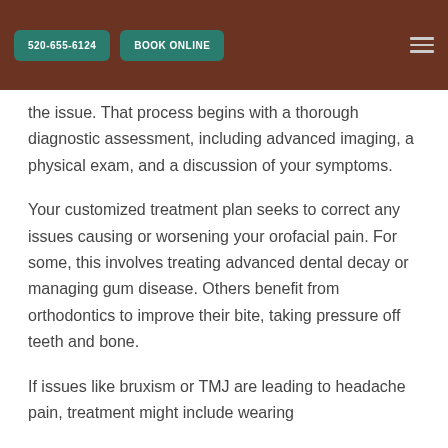520-655-6124   BOOK ONLINE
the issue. That process begins with a thorough diagnostic assessment, including advanced imaging, a physical exam, and a discussion of your symptoms.
Your customized treatment plan seeks to correct any issues causing or worsening your orofacial pain. For some, this involves treating advanced dental decay or managing gum disease. Others benefit from orthodontics to improve their bite, taking pressure off teeth and bone.
If issues like bruxism or TMJ are leading to headache pain, treatment might include wearing